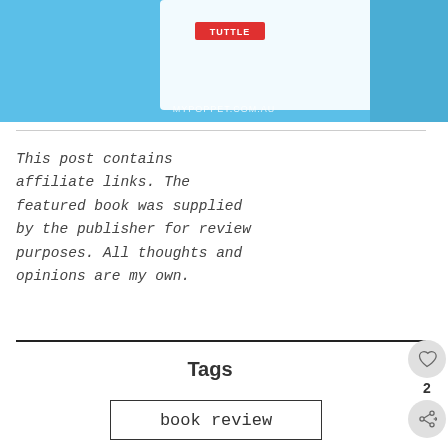[Figure (photo): Partial view of a book cover or styled photo with blue background and TUTTLE branding text visible, with watermark MYPOPPET.COM.AU]
This post contains affiliate links. The featured book was supplied by the publisher for review purposes. All thoughts and opinions are my own.
Tags
book review